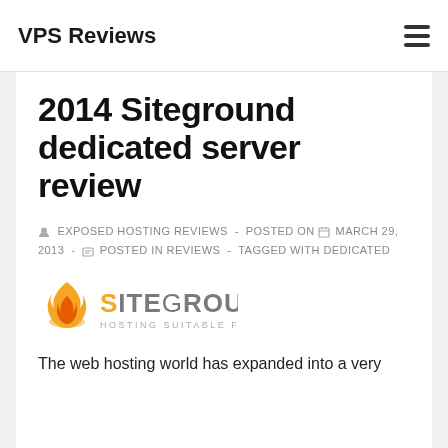VPS Reviews
2014 Siteground dedicated server review
EXPOSED HOSTING REVIEWS - POSTED ON MARCH 29, 2013 - POSTED IN REVIEWS - TAGGED WITH DEDICATED
[Figure (logo): SiteGround logo with flame icon and tagline 'HOSTING SUITABLE FOR YOU!']
The web hosting world has expanded into a very